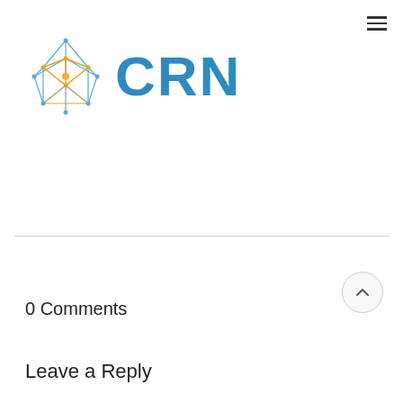[Figure (logo): CRN logo with geometric star/network graphic in blue and orange, followed by bold blue 'CRN' text]
0 Comments
Leave a Reply